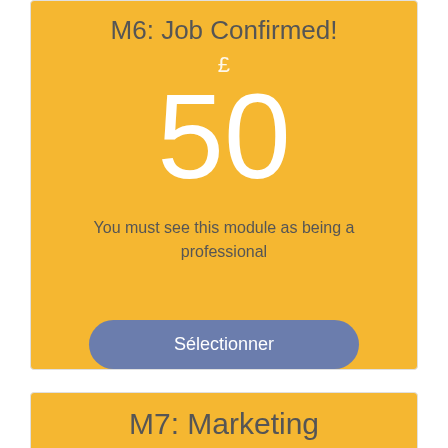M6: Job Confirmed!
£ 50
You must see this module as being a professional
Sélectionner
M7: Marketing
£ 50